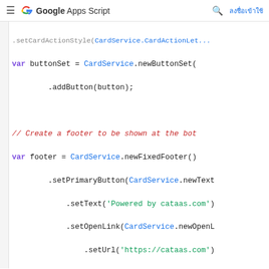Google Apps Script | ลงชื่อเข้าใช้
[Figure (screenshot): Google Apps Script documentation page showing JavaScript/Apps Script code for creating a card UI with footer, button set, and card section.]
var buttonSet = CardService.newButtonSet(
    .addButton(button);

// Create a footer to be shown at the bot
var footer = CardService.newFixedFooter()
    .setPrimaryButton(CardService.newText
        .setText('Powered by cataas.com')
        .setOpenLink(CardService.newOpenL
            .setUrl('https://cataas.com')

// Assemble the widgets and return the ca
var section = CardService.newCardSection(
    .addWidget(image)
    .addWidget(buttonSet);
var card = CardService.newCardBuilder()
    .addSection(section)
    .setFixedFooter(footer);

if (!isHomepage) {
    // Create the header shown when the car